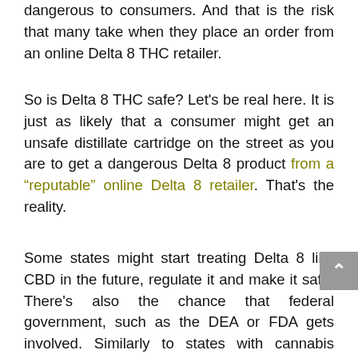dangerous to consumers. And that is the risk that many take when they place an order from an online Delta 8 THC retailer.
So is Delta 8 THC safe? Let's be real here. It is just as likely that a consumer might get an unsafe distillate cartridge on the street as you are to get a dangerous Delta 8 product from a "reputable" online Delta 8 retailer. That's the reality.
Some states might start treating Delta 8 like CBD in the future, regulate it and make it safe. There's also the chance that federal government, such as the DEA or FDA gets involved. Similarly to states with cannabis legalization, Delta 8 could also be made legal on a state by state basis. Some argue it